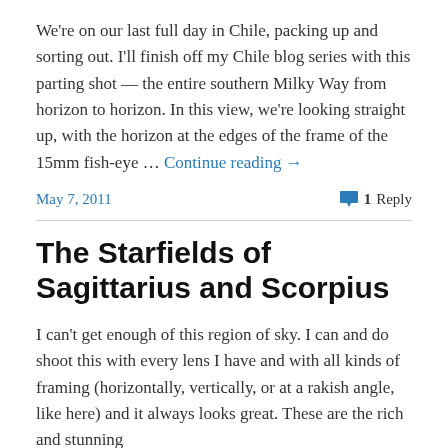We're on our last full day in Chile, packing up and sorting out. I'll finish off my Chile blog series with this parting shot — the entire southern Milky Way from horizon to horizon. In this view, we're looking straight up, with the horizon at the edges of the frame of the 15mm fish-eye … Continue reading →
May 7, 2011    1 Reply
The Starfields of Sagittarius and Scorpius
I can't get enough of this region of sky. I can and do shoot this with every lens I have and with all kinds of framing (horizontally, vertically, or at a rakish angle, like here) and it always looks great. These are the rich and stunning